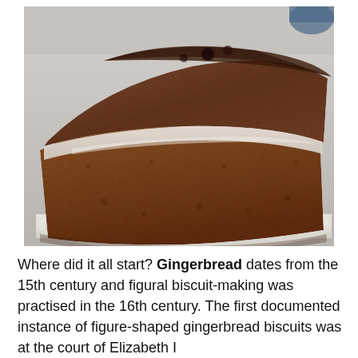[Figure (photo): Close-up photograph of two slices of gingerbread cake on a white plate. The cake has a dense, moist brown crumb texture with a white frosting or cream layer between the two slices.]
Where did it all start? Gingerbread dates from the 15th century and figural biscuit-making was practised in the 16th century. The first documented instance of figure-shaped gingerbread biscuits was at the court of Elizabeth I